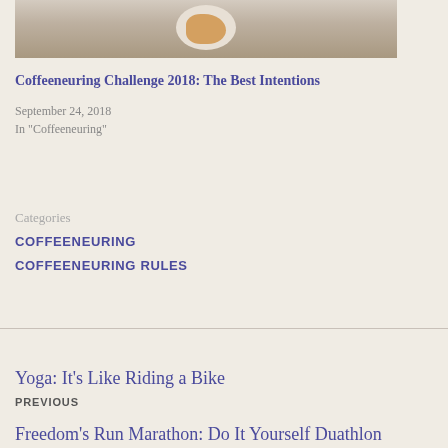[Figure (photo): Photo of food on a plate, partial view at top of page]
Coffeeneuring Challenge 2018: The Best Intentions
September 24, 2018
In "Coffeeneuring"
Categories
COFFEENEURING
COFFEENEURING RULES
Yoga: It’s Like Riding a Bike
PREVIOUS
Freedom’s Run Marathon: Do It Yourself Duathlon